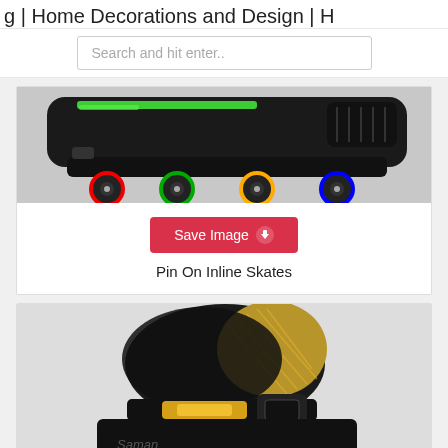g | Home Decorations and Design | H
Search and hit enter..
[Figure (photo): Close-up photo of an inline skate with colorful LED-lit wheels, black frame with green and red accents, and ventilated boot top]
Save Image
Pin On Inline Skates
[Figure (photo): Close-up photo of a black and gold inline skate boot with mesh upper, gold buckle detail, and partial view of the wheel]